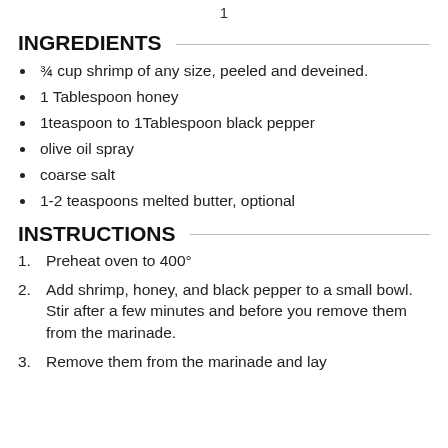1
INGREDIENTS
¾ cup shrimp of any size, peeled and deveined.
1 Tablespoon honey
1teaspoon to 1Tablespoon black pepper
olive oil spray
coarse salt
1-2 teaspoons melted butter, optional
INSTRUCTIONS
Preheat oven to 400°
Add shrimp, honey, and black pepper to a small bowl. Stir after a few minutes and before you remove them from the marinade.
Remove them from the marinade and lay